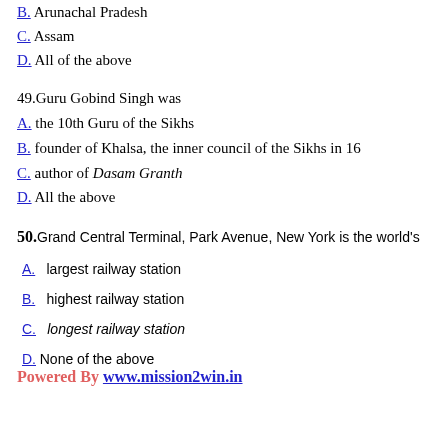B. Arunachal Pradesh
C. Assam
D. All of the above
49. Guru Gobind Singh was
A. the 10th Guru of the Sikhs
B. founder of Khalsa, the inner council of the Sikhs in 16...
C. author of Dasam Granth
D. All the above
50. Grand Central Terminal, Park Avenue, New York is the world's
A. largest railway station
B. highest railway station
C. longest railway station
D. None of the above
Powered By www.mission2win.in